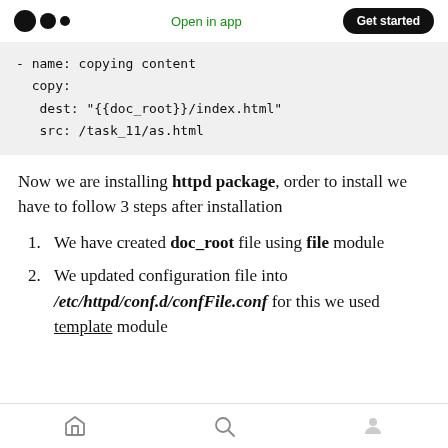Open in app  Get started
- name: copying content
  copy:
   dest: "{{doc_root}}/index.html"
   src: /task_11/as.html
Now we are installing httpd package, order to install we have to follow 3 steps after installation
1. We have created doc_root file using file module
2. We updated configuration file into /etc/httpd/conf.d/confFile.conf for this we used template module
home  search  profile